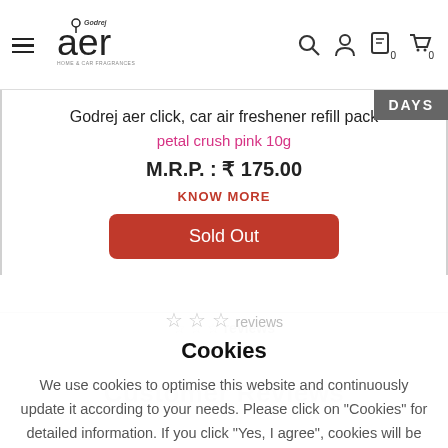Godrej aer - Home & Car Fragrances
Godrej aer click, car air freshener refill pack
petal crush pink 10g
M.R.P. : ₹ 175.00
KNOW MORE
Sold Out
Cookies
We use cookies to optimise this website and continuously update it according to your needs. Please click on "Cookies" for detailed information. If you click "Yes, I agree", cookies will be activated.
Yes, I Agree ✓